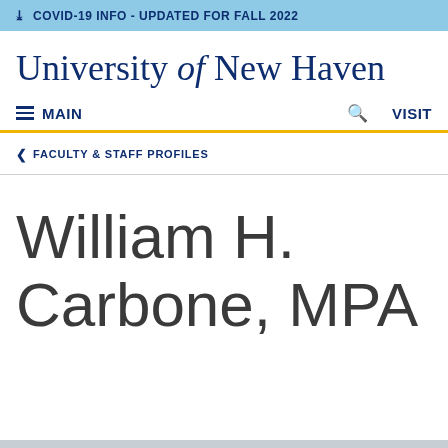COVID-19 INFO - UPDATED FOR FALL 2022
University of New Haven
MAIN  VISIT
FACULTY & STAFF PROFILES
William H. Carbone, MPA